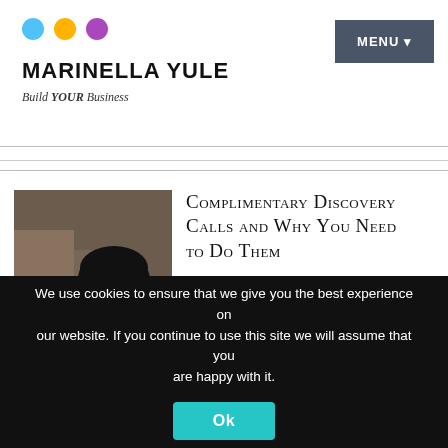[Figure (logo): Three colored circles (blue, orange, purple) forming a decorative logo mark]
MARINELLA YULE
Build YOUR Business
[Figure (photo): Woman smiling and talking on phone while working on laptop at a desk with boxes in background]
COMPLIMENTARY Discovery Calls and Why You Need to DO Them
Marinella Yule Marketing Consultant dives in to why complimentary discovery
We use cookies to ensure that we give you the best experience on our website. If you continue to use this site we will assume that you are happy with it.